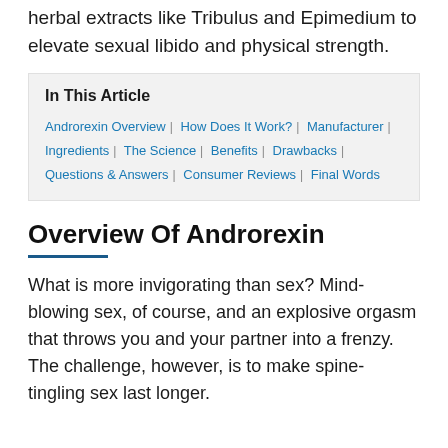herbal extracts like Tribulus and Epimedium to elevate sexual libido and physical strength.
In This Article
Androrexin Overview | How Does It Work? | Manufacturer | Ingredients | The Science | Benefits | Drawbacks | Questions & Answers | Consumer Reviews | Final Words
Overview Of Androrexin
What is more invigorating than sex? Mind-blowing sex, of course, and an explosive orgasm that throws you and your partner into a frenzy. The challenge, however, is to make spine-tingling sex last longer.